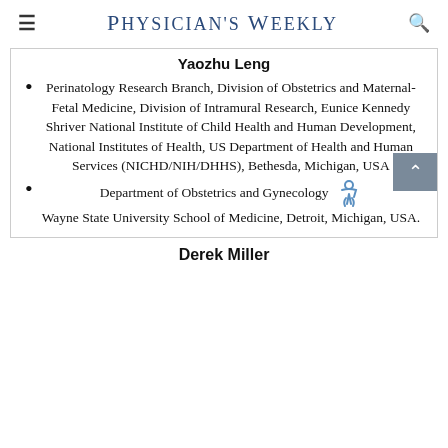PHYSICIAN'S WEEKLY
Yaozhu Leng
Perinatology Research Branch, Division of Obstetrics and Maternal-Fetal Medicine, Division of Intramural Research, Eunice Kennedy Shriver National Institute of Child Health and Human Development, National Institutes of Health, US Department of Health and Human Services (NICHD/NIH/DHHS), Bethesda, Michigan, USA
Department of Obstetrics and Gynecology Wayne State University School of Medicine, Detroit, Michigan, USA.
Derek Miller